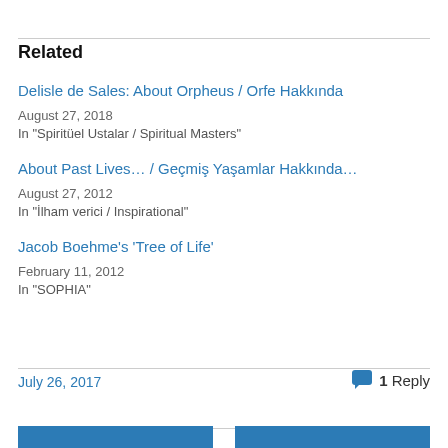Related
Delisle de Sales: About Orpheus / Orfe Hakkında
August 27, 2018
In "Spiritüel Ustalar / Spiritual Masters"
About Past Lives… / Geçmiş Yaşamlar Hakkında…
August 27, 2012
In "İlham verici / Inspirational"
Jacob Boehme's 'Tree of Life'
February 11, 2012
In "SOPHIA"
July 26, 2017   💬 1 Reply